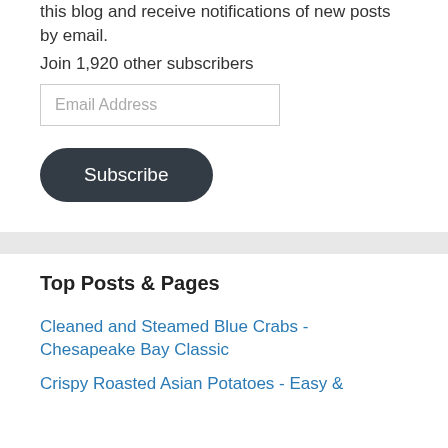this blog and receive notifications of new posts by email.
Join 1,920 other subscribers
Email Address
Subscribe
Top Posts & Pages
Cleaned and Steamed Blue Crabs - Chesapeake Bay Classic
Crispy Roasted Asian Potatoes - Easy &